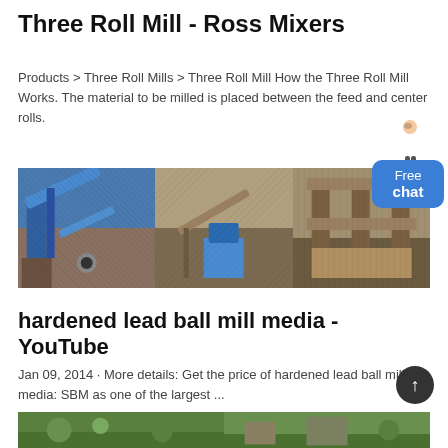Three Roll Mill - Ross Mixers
Products > Three Roll Mills > Three Roll Mill How the Three Roll Mill Works. The material to be milled is placed between the feed and center rolls.
[Figure (photo): Three industrial mill/crusher machines shown side by side: a blue conveyor system on the left, a jaw crusher in the center, and a large industrial processing building on the right]
hardened lead ball mill media - YouTube
Jan 09, 2014 · More details: Get the price of hardened lead ball mill media: SBM as one of the largest ...
[Figure (photo): Bottom partial images — green industrial landscape scenes]